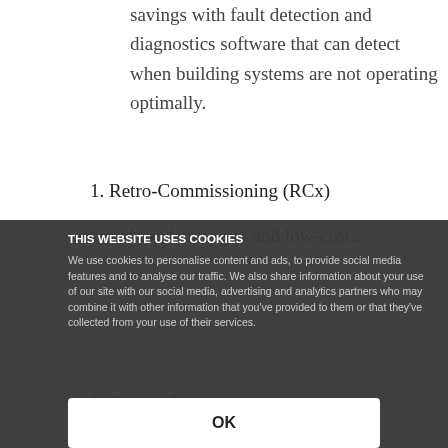savings with fault detection and diagnostics software that can detect when building systems are not operating optimally.
1. Retro-Commissioning (RCx)
THIS WEBSITE USES COOKIES
We use cookies to personalise content and ads, to provide social media features and to analyse our traffic. We also share information about your use of our site with our social media, advertising and analytics partners who may combine it with other information that you've provided to them or that they've collected from your use of their services.
1. Energy Audits
OK
ESD will discover no- and low-cost